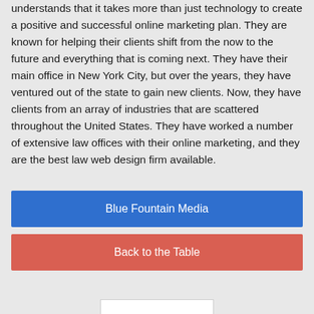understands that it takes more than just technology to create a positive and successful online marketing plan. They are known for helping their clients shift from the now to the future and everything that is coming next. They have their main office in New York City, but over the years, they have ventured out of the state to gain new clients. Now, they have clients from an array of industries that are scattered throughout the United States. They have worked a number of extensive law offices with their online marketing, and they are the best law web design firm available.
Blue Fountain Media
Back to the Table